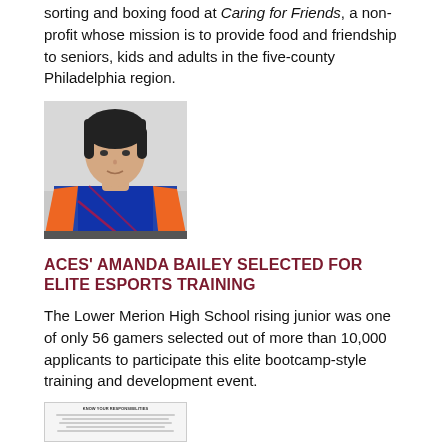sorting and boxing food at Caring for Friends, a non-profit whose mission is to provide food and friendship to seniors, kids and adults in the five-county Philadelphia region.
[Figure (photo): Portrait photo of Amanda Bailey wearing a blue and orange esports jersey, with short dark hair, against a light gray background.]
ACES' AMANDA BAILEY SELECTED FOR ELITE ESPORTS TRAINING
The Lower Merion High School rising junior was one of only 56 gamers selected out of more than 10,000 applicants to participate this elite bootcamp-style training and development event.
[Figure (screenshot): Small thumbnail of a document titled KNOW YOUR RESPONSIBILITIES with bullet point lines of text beneath it.]